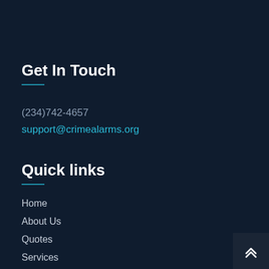Get In Touch
(234)742-4657
support@crimealarms.org
Quick links
Home
About Us
Quotes
Services
Contact Us